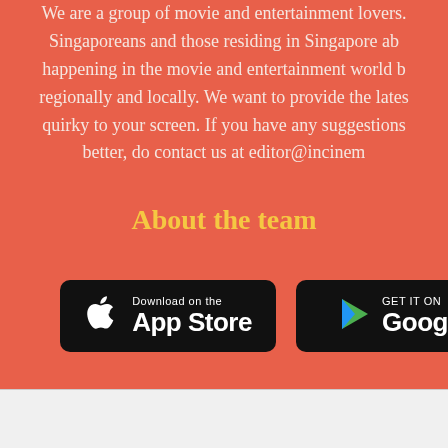We are a group of movie and entertainment lovers. Singaporeans and those residing in Singapore ab... happening in the movie and entertainment world b... regionally and locally. We want to provide the lates... quirky to your screen. If you have any suggestions... better, do contact us at editor@incinem...
About the team
[Figure (other): App Store download badge (black rounded rectangle with Apple logo and 'Download on the App Store' text)]
[Figure (other): Google Play badge (black rounded rectangle with Play Store triangle logo and 'GET IT ON Google Play' text, partially cropped)]